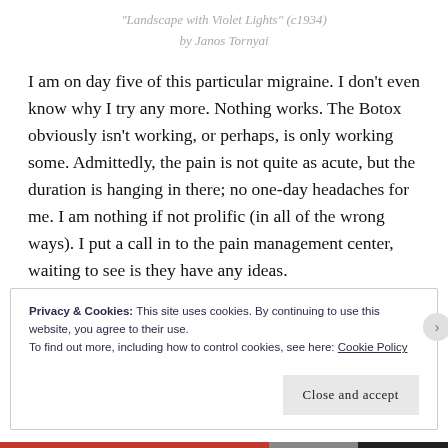"Landscape with Violet Lights" (c1934)
by Janos Tornyai
I am on day five of this particular migraine. I don't even know why I try any more. Nothing works. The Botox obviously isn't working, or perhaps, is only working some. Admittedly, the pain is not quite as acute, but the duration is hanging in there; no one-day headaches for me. I am nothing if not prolific (in all of the wrong ways). I put a call in to the pain management center, waiting to see is they have any ideas.
Privacy & Cookies: This site uses cookies. By continuing to use this website, you agree to their use.
To find out more, including how to control cookies, see here: Cookie Policy